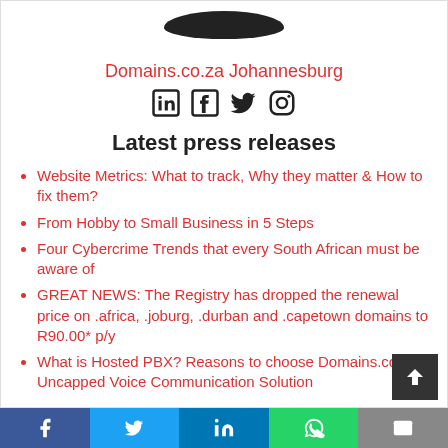[Figure (logo): Company logo black oval/blob shape at top center]
Domains.co.za Johannesburg
[Figure (other): Social media icons: LinkedIn, Facebook, Twitter, Instagram]
Latest press releases
Website Metrics: What to track, Why they matter & How to fix them?
From Hobby to Small Business in 5 Steps
Four Cybercrime Trends that every South African must be aware of
GREAT NEWS: The Registry has dropped the renewal price on .africa, .joburg, .durban and .capetown domains to R90.00* p/y
What is Hosted PBX? Reasons to choose Domains.co.za's Uncapped Voice Communication Solution
Social share footer: Facebook, Twitter, LinkedIn, WhatsApp, Email